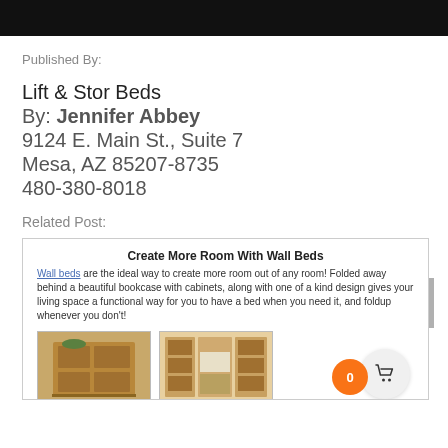[Figure (screenshot): Black header bar at top of webpage]
Published By:
Lift & Stor Beds
By: Jennifer Abbey
9124 E. Main St., Suite 7
Mesa, AZ 85207-8735
480-380-8018
Related Post:
[Figure (screenshot): Related post card showing 'Create More Room With Wall Beds' with text and two furniture images]